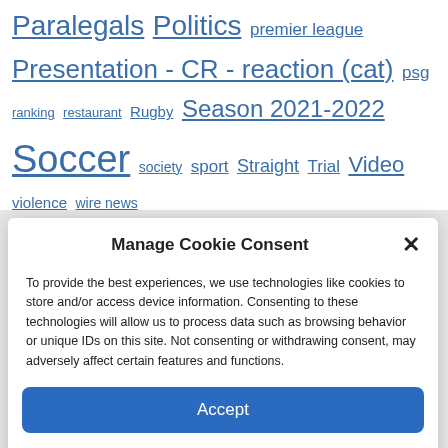Paralegals  Politics  premier league  Presentation - CR - reaction (cat)  psg  ranking  restaurant  Rugby  Season 2021-2022  Soccer  society  sport  Straight  Trial  Video  violence  wire news
Manage Cookie Consent
To provide the best experiences, we use technologies like cookies to store and/or access device information. Consenting to these technologies will allow us to process data such as browsing behavior or unique IDs on this site. Not consenting or withdrawing consent, may adversely affect certain features and functions.
Accept
Cookie Policy